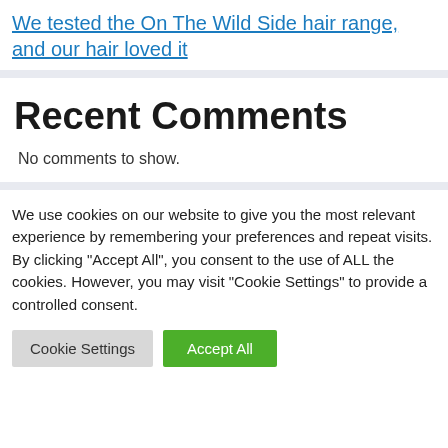We tested the On The Wild Side hair range, and our hair loved it
Recent Comments
No comments to show.
We use cookies on our website to give you the most relevant experience by remembering your preferences and repeat visits. By clicking "Accept All", you consent to the use of ALL the cookies. However, you may visit "Cookie Settings" to provide a controlled consent.